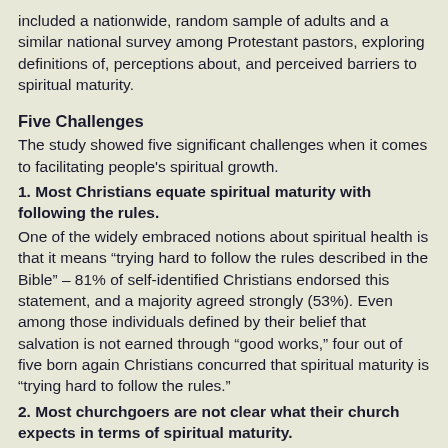included a nationwide, random sample of adults and a similar national survey among Protestant pastors, exploring definitions of, perceptions about, and perceived barriers to spiritual maturity.
Five Challenges
The study showed five significant challenges when it comes to facilitating people's spiritual growth.
1. Most Christians equate spiritual maturity with following the rules.
One of the widely embraced notions about spiritual health is that it means “trying hard to follow the rules described in the Bible” – 81% of self-identified Christians endorsed this statement, and a majority agreed strongly (53%). Even among those individuals defined by their belief that salvation is not earned through “good works,” four out of five born again Christians concurred that spiritual maturity is “trying hard to follow the rules.”
2. Most churchgoers are not clear what their church expects in terms of spiritual maturity.
An open-ended survey question asked churchgoers to describe how their church defined a “healthy, spiritually…